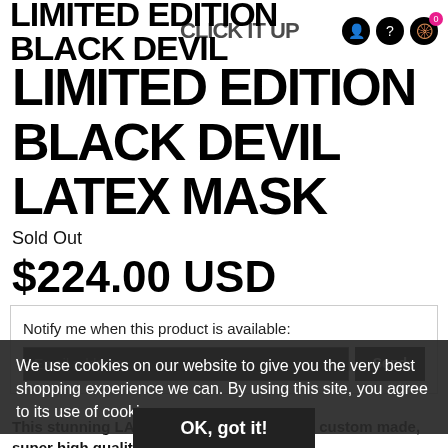LIMITED EDITION BLACK DEVIL
LIMITED EDITION BLACK DEVIL LATEX MASK
Sold Out
$224.00 USD
Notify me when this product is available:
We use cookies on our website to give you the very best shopping experience we can. By using this site, you agree to its use of cookies.
OK, got it!
This stunning LATEX limited edition run of custom made, super high quality FULL LATEX